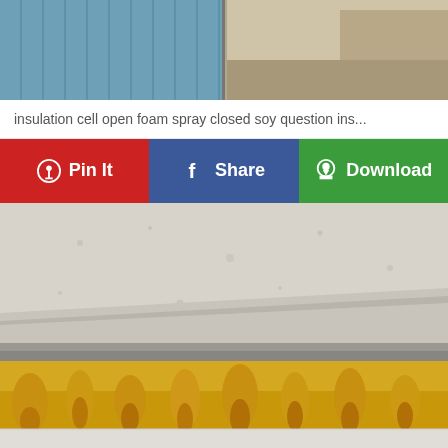[Figure (photo): Top portion showing two construction/insulation images side by side: left shows blue spray foam insulation on wall panels, right shows a wooden shelf or surface interior corner]
insulation cell open foam spray closed soy question ins...
[Figure (infographic): Three social sharing/action buttons in a row: red Pinterest 'Pin It' button, blue Facebook 'Share' button, green 'Download' button]
[Figure (photo): Close-up photo of spray foam insulation layers showing white open-cell foam on top, a gray concrete or mortar layer in the middle, and yellow closed-cell spray foam dripping along the bottom edge of a wall or ceiling]